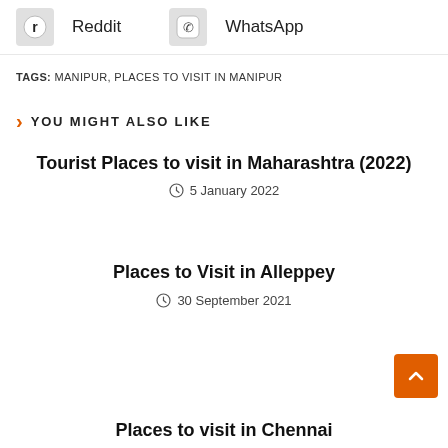[Figure (infographic): Top bar showing Reddit and WhatsApp share icons with labels]
TAGS: MANIPUR, PLACES TO VISIT IN MANIPUR
YOU MIGHT ALSO LIKE
Tourist Places to visit in Maharashtra (2022)
5 January 2022
Places to Visit in Alleppey
30 September 2021
Places to visit in Chennai